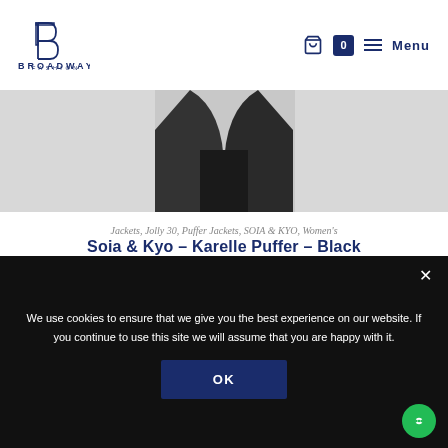[Figure (logo): Broadway Fashion logo with stylized B icon and text BROADWAY FASHION]
[Figure (photo): Product image of Soia & Kyo Karelle Puffer jacket in black, partially visible at top of page]
Jackets, Jolly 30, Puffer Jackets, SOIA & KYO, Women's
Soia & Kyo – Karelle Puffer – Black
$425.00
Select options
We use cookies to ensure that we give you the best experience on our website. If you continue to use this site we will assume that you are happy with it.
OK